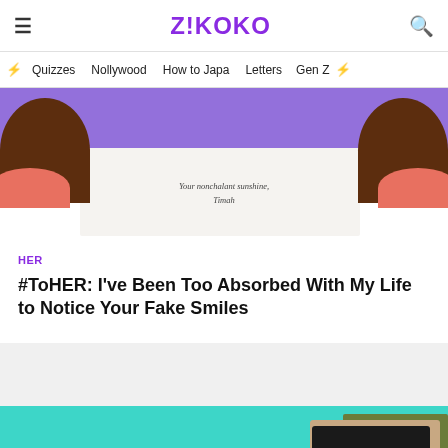Z!KOKO
Quizzes  Nollywood  How to Japa  Letters  Gen Z
[Figure (illustration): Illustrated article header image with purple background showing silhouetted figures and text 'Your nonchalant sunshine, Timah' on white letter paper]
HER
#ToHER: I've Been Too Absorbed With My Life to Notice Your Fake Smiles
[Figure (illustration): Teal/turquoise background article card with purple box, overlapping photo frames, and advertisement overlay for Firestone oil change]
Firestone
Get An Oil Change Near You
LEARN MORE